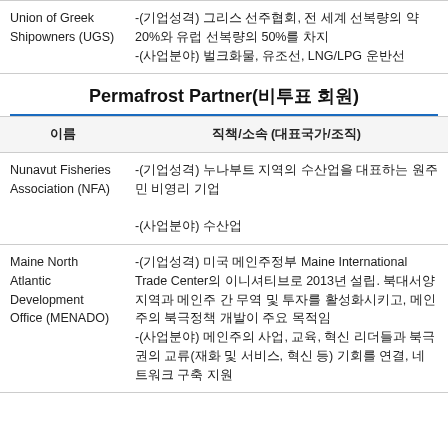| 이름 | 직책/소속 (대표국가/조직) |
| --- | --- |
| Union of Greek Shipowners (UGS) | -(기업성격) 그리스 선주협회, 전 세계 선복량의 약 20%와 유럽 선복량의 50%를 차지
-(사업분야) 벌크화물, 유조선, LNG/LPG 운반선 |
Permafrost Partner(비투표 회원)
| 이름 | 직책/소속 (대표국가/조직) |
| --- | --- |
| Nunavut Fisheries Association (NFA) | -(기업성격) 누나부트 지역의 수산업을 대표하는 원주민 비영리 기업
-(사업분야) 수산업 |
| Maine North Atlantic Development Office (MENADO) | -(기업성격) 미국 메인주정부 Maine International Trade Center의 이니셔티브로 2013년 설립. 북대서양지역과 메인주 간 무역 및 투자를 활성화시키고, 메인주의 북극정책 개발이 주요 목적임
-(사업분야) 메인주의 사업, 교육, 혁신 리더들과 북극권의 교류(재화 및 서비스, 혁신 등) 기회를 연결, 네트워크 구축 지원 |